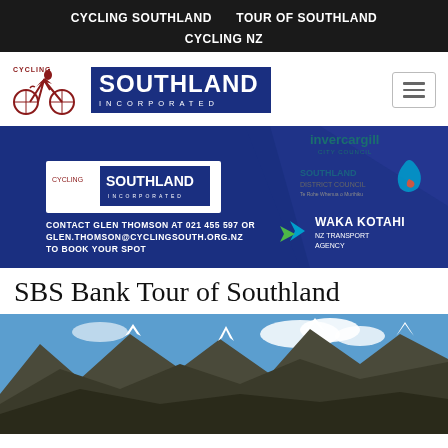CYCLING SOUTHLAND    TOUR OF SOUTHLAND    CYCLING NZ
[Figure (logo): Cycling Southland Incorporated logo — red cyclist illustration with 'SOUTHLAND INCORPORATED' text in dark blue box]
[Figure (screenshot): Promotional banner: Cycling Southland Incorporated logo, contact info — CONTACT GLEN THOMSON AT 021 455 597 OR GLEN.THOMSON@CYCLINGSOUTH.ORG.NZ TO BOOK YOUR SPOT — with sponsor logos: Invercargill City Council, Southland District Council, Waka Kotahi NZ Transport Agency]
SBS Bank Tour of Southland
[Figure (photo): Mountain landscape photo showing snow-capped rocky mountains under blue sky with clouds]